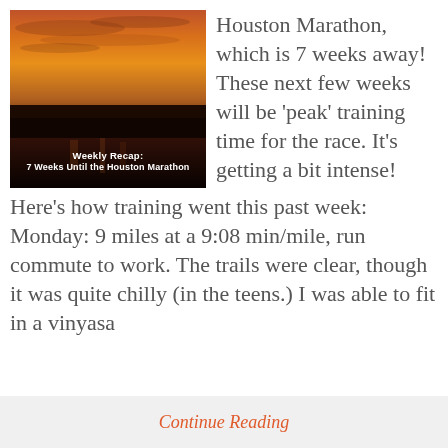[Figure (photo): Sunset/sunrise photo with orange-red sky and silhouetted trees, with overlay text reading 'Weekly Recap: 7 Weeks Until the Houston Marathon']
Houston Marathon, which is 7 weeks away! These next few weeks will be 'peak' training time for the race. It's getting a bit intense! Here's how training went this past week: Monday: 9 miles at a 9:08 min/mile, run commute to work. The trails were clear, though it was quite chilly (in the teens.) I was able to fit in a vinyasa
Continue Reading